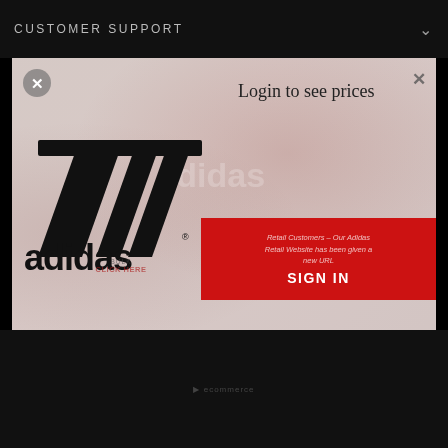CUSTOMER SUPPORT
[Figure (screenshot): Adidas B2B website screenshot showing a login modal popup. The modal contains the Adidas logo (three stripes + 'adidas' wordmark) on the left, 'Login to see prices' text on the upper right, and a red 'SIGN IN' button on the lower right with italic text 'Retail Customers – Our Adidas Retail Website has been given a new URL'. A circular X close button is in the upper left of the modal. Background shows blurred athletes in Adidas gear.]
Login to see prices
Retail Customers – Our Adidas Retail Website has been given a new URL
SIGN IN